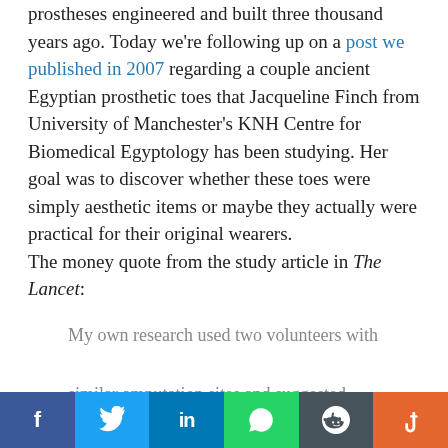prostheses engineered and built three thousand years ago. Today we're following up on a post we published in 2007 regarding a couple ancient Egyptian prosthetic toes that Jacqueline Finch from University of Manchester's KNH Centre for Biomedical Egyptology has been studying. Her goal was to discover whether these toes were simply aesthetic items or maybe they actually were practical for their original wearers. The money quote from the study article in The Lancet:
My own research used two volunteers with similar amputation sites and suggested that replicas of both ancient Egyptian
Facebook Twitter LinkedIn WhatsApp Reddit StumbleUpon